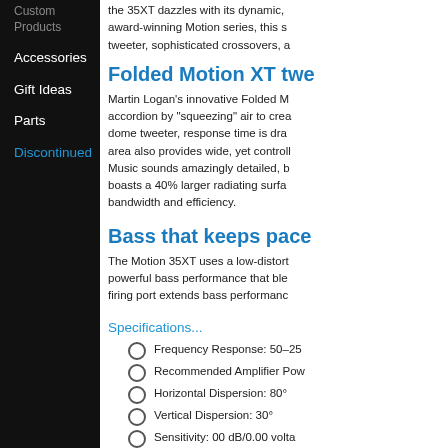Custom Products
Accessories
Gift Ideas
Parts
Discontinued
the 35XT dazzles with its dynamic, award-winning Motion series, this s tweeter, sophisticated crossovers, a
Folded Motion XT twe
Martin Logan's innovative Folded M accordion by "squeezing" air to crea dome tweeter, response time is dra area also provides wide, yet contro Music sounds amazingly detailed, b boasts a 40% larger radiating surfa bandwidth and efficiency.
Bass that keeps pace
The Motion 35XT uses a low-distort powerful bass performance that ble firing port extends bass performanc
Specifications...
Frequency Response: 50–25
Recommended Amplifier Pow
Horizontal Dispersion: 80°
Vertical Dispersion: 30°
Sensitivity: 00 dB/0.00 volta